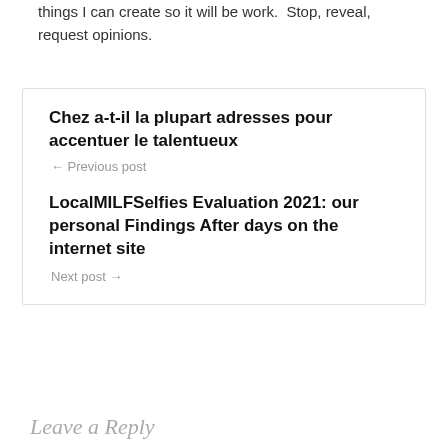things I can create so it will be work.  Stop, reveal, request opinions.
Chez a-t-il la plupart adresses pour accentuer le talentueux
← Previous post
LocalMILFSelfies Evaluation 2021: our personal Findings After days on the internet site
Next post →
Leave a Reply